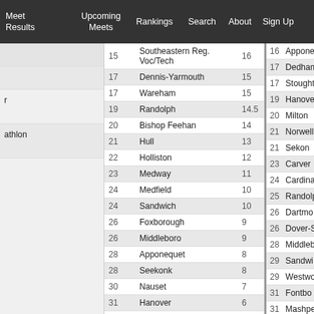Meet Results | Upcoming Meets | Rankings | Search | About | Sign Up
| Rank | School | Score |
| --- | --- | --- |
| 15 | Southeastern Reg. Voc/Tech | 16 |
| 17 | Dennis-Yarmouth | 15 |
| 17 | Wareham | 15 |
| 19 | Randolph | 14.5 |
| 20 | Bishop Feehan | 14 |
| 21 | Hull | 13 |
| 22 | Holliston | 12 |
| 23 | Medway | 11 |
| 24 | Medfield | 10 |
| 24 | Sandwich | 10 |
| 26 | Foxborough | 9 |
| 26 | Middleboro | 9 |
| 28 | Apponequet | 8 |
| 28 | Seekonk | 8 |
| 30 | Nauset | 7 |
| 31 | Hanover | 6 |
| 31 | Joseph Case | 6 |
| 31 | Norwood | 6 |
| 31 | Sturgis Charter School East | 6 |
| Rank | School |
| --- | --- |
| 16 | Apponequet |
| 17 | Dedham |
| 17 | Stoughton |
| 19 | Hanover |
| 20 | Milton |
| 21 | Norwell |
| 21 | Seekonk |
| 23 | Carver |
| 24 | Cardinal |
| 25 | Randolph |
| 26 | Dartmouth |
| 26 | Dover-S |
| 28 | Middleb |
| 29 | Sandwich |
| 29 | Westwo |
| 31 | Fontbo |
| 31 | Mashpe |
| 33 | Medwa |
| 33 | Millis |